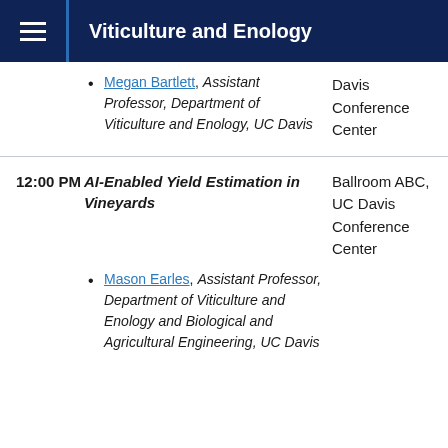Viticulture and Enology
Megan Bartlett, Assistant Professor, Department of Viticulture and Enology, UC Davis
Davis Conference Center
12:00 PM
AI-Enabled Yield Estimation in Vineyards
Ballroom ABC, UC Davis Conference Center
Mason Earles, Assistant Professor, Department of Viticulture and Enology and Biological and Agricultural Engineering, UC Davis